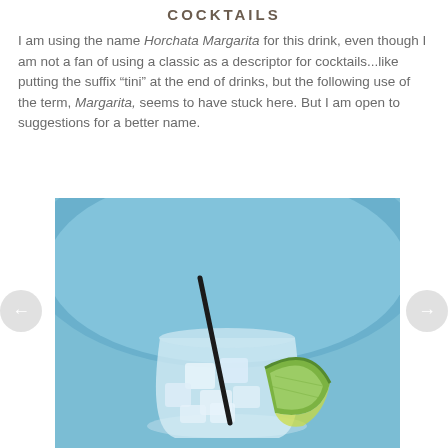COCKTAILS
I am using the name Horchata Margarita for this drink, even though I am not a fan of using a classic as a descriptor for cocktails...like putting the suffix “tini” at the end of drinks, but the following use of the term, Margarita, seems to have stuck here. But I am open to suggestions for a better name.
[Figure (photo): A cocktail glass filled with ice and a white/clear drink, garnished with a lime wedge, with a black straw, sitting on a blue plate background.]